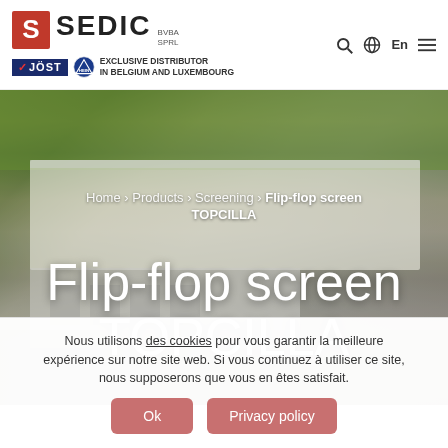[Figure (logo): SEDIC BVBA SPRL logo with red S shield and bold SEDIC text, plus JOST and triangle exclusive distributor badge for Belgium and Luxembourg]
[Figure (photo): Aerial photograph of a large industrial warehouse/distribution center with white roof, surrounded by greenery and roads. Breadcrumb navigation overlaid: Home > Products > Screening > Flip-flop screen TOPCILLA. Large white title text: Flip-flop screen TOPCILLA]
Nous utilisons des cookies pour vous garantir la meilleure expérience sur notre site web. Si vous continuez à utiliser ce site, nous supposerons que vous en êtes satisfait.
Ok
Privacy policy